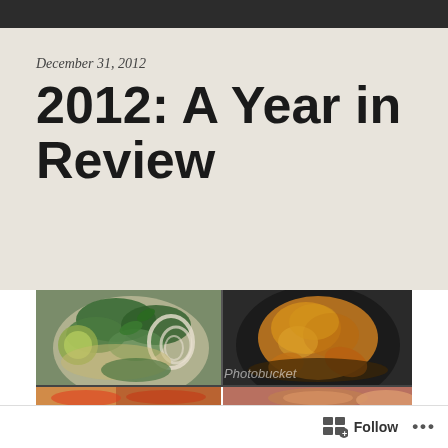December 31, 2012
2012: A Year in Review
[Figure (photo): Food collage showing a bowl of pho with herbs, jalapeños, lime and bean sprouts on the left; a whole roasted chicken in a dark pan on the right; and partial images of other food dishes along the bottom edge]
Follow ...